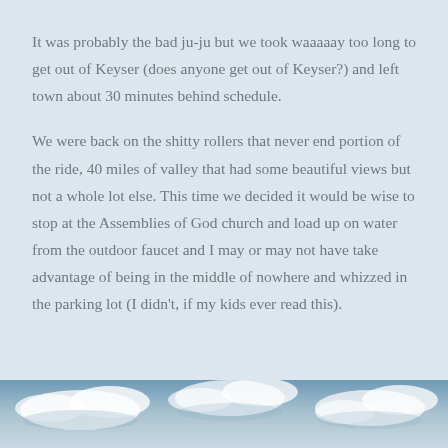It was probably the bad ju-ju but we took waaaaay too long to get out of Keyser (does anyone get out of Keyser?) and left town about 30 minutes behind schedule.
We were back on the shitty rollers that never end portion of the ride, 40 miles of valley that had some beautiful views but not a whole lot else. This time we decided it would be wise to stop at the Assemblies of God church and load up on water from the outdoor faucet and I may or may not have take advantage of being in the middle of nowhere and whizzed in the parking lot (I didn't, if my kids ever read this).
[Figure (photo): Partial view of sky with clouds, blue and white tones, cropped at bottom of page]